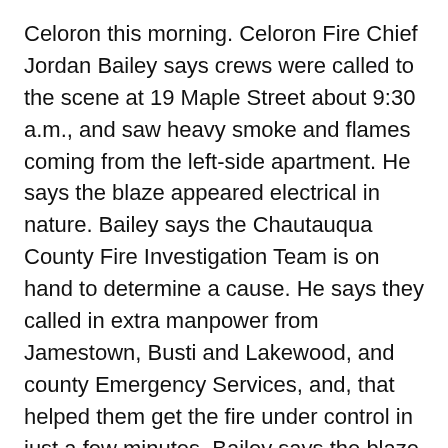Celoron this morning.  Celoron Fire Chief Jordan Bailey says crews were called to the scene at 19 Maple Street about 9:30 a.m., and saw heavy smoke and flames coming from the left-side apartment.  He says the blaze appeared electrical in nature.  Bailey says the Chautauqua County Fire Investigation Team is on hand to determine a cause.  He says they called in extra manpower from Jamestown, Busti and Lakewood, and county Emergency Services, and, that helped them get the fire under control in just a few minutes.  Bailey says the blaze appeared to originate in one corner of the bedroom where the fire was contained.  He says all the occupants were out safely when crews arrived.  Firefighters were at the scene about an hour-and-a-half.
School bus driver arrested on Seneca Nation for allegedly driving school bus while under influence of drugs...
A Silver Creek man is facing a grand larceny...